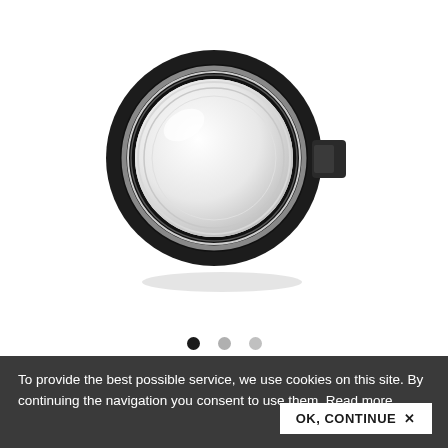[Figure (photo): Photo of a black circular push button with a clear/white illuminated lens face and a small rectangular connector tab on the right side, photographed against a white background.]
To provide the best possible service, we use cookies on this site. By continuing the navigation you consent to use them. Read more.